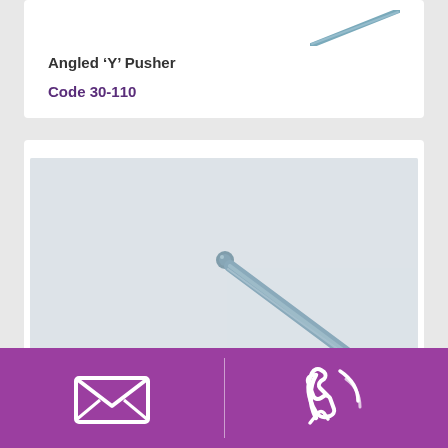[Figure (photo): Partial view of a metal surgical/dental instrument (angled Y pusher) shown diagonally, cropped at top of card]
Angled ‘Y’ Pusher
Code 30-110
[Figure (photo): A metal surgical instrument with a small ball tip, shown diagonally against a light grey background — the lower product photo card]
[Figure (other): Purple footer bar with email envelope icon on the left half and telephone/contact icon on the right half, separated by a vertical divider line]